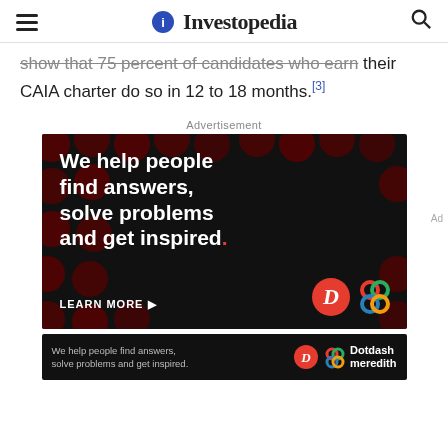Investopedia
show that 75 percent of candidates who earn their CAIA charter do so in 12 to 18 months.[3]
Advertisement
[Figure (photo): Advertisement banner: black background with dark red circles pattern. White bold text reads 'We help people find answers, solve problems and get inspired.' with a red period. 'LEARN MORE' link in white with arrow. Dotdash and Meredith logos at bottom right.]
[Figure (photo): Bottom Dotdash Meredith advertisement banner: dark background with text 'We help people find answers, solve problems and get inspired.' with Dotdash and Meredith logos.]